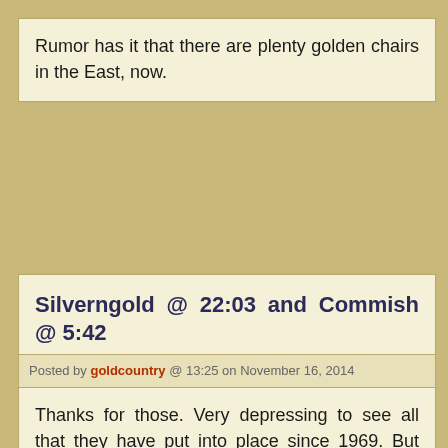Rumor has it that there are plenty golden chairs in the East, now.
Silverngold @ 22:03 and Commish @ 5:42
Posted by goldcountry @ 13:25 on November 16, 2014
Thanks for those. Very depressing to see all that they have put into place since 1969. But also heartening to see that in some areas they have not succeeded yet.